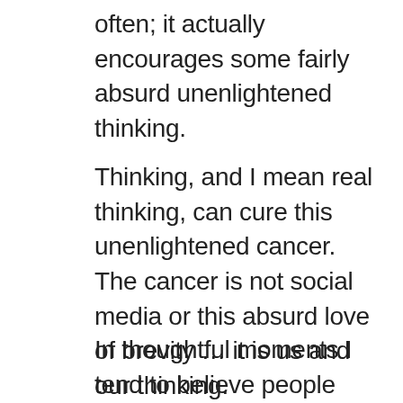often; it actually encourages some fairly absurd unenlightened thinking.
Thinking, and I mean real thinking, can cure this unenlightened cancer. The cancer is not social media or this absurd love of brevity … it is us and our thinking.
In thoughtful moments I tend to believe people know this. They know social media and how to use and their interactions.